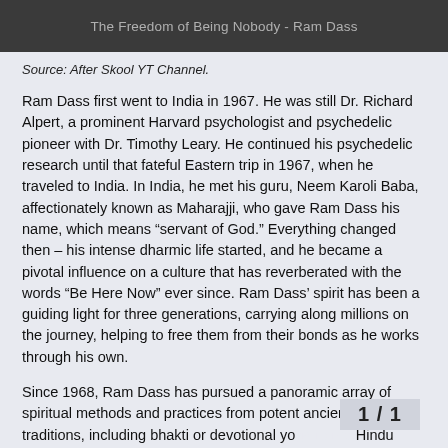The Freedom of Being Nobody - Ram Dass
Source: After Skool YT Channel.
Ram Dass first went to India in 1967. He was still Dr. Richard Alpert, a prominent Harvard psychologist and psychedelic pioneer with Dr. Timothy Leary. He continued his psychedelic research until that fateful Eastern trip in 1967, when he traveled to India. In India, he met his guru, Neem Karoli Baba, affectionately known as Maharajji, who gave Ram Dass his name, which means “servant of God.” Everything changed then – his intense dharmic life started, and he became a pivotal influence on a culture that has reverberated with the words “Be Here Now” ever since. Ram Dass’ spirit has been a guiding light for three generations, carrying along millions on the journey, helping to free them from their bonds as he works through his own.
Since 1968, Ram Dass has pursued a panoramic array of spiritual methods and practices from potent ancient wisdom traditions, including bhakti or devotional yo... Hindu deity Hanuman; Buddhist meditatio...
1 / 1